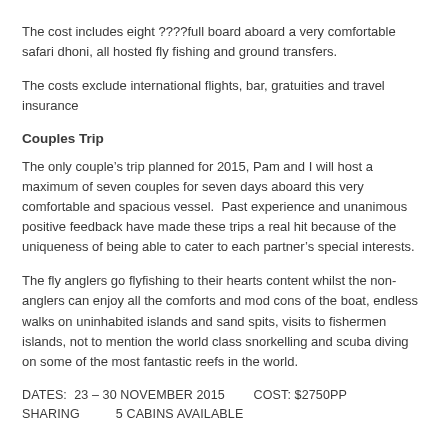The cost includes eight ????full board aboard a very comfortable safari dhoni, all hosted fly fishing and ground transfers.
The costs exclude international flights, bar, gratuities and travel insurance
Couples Trip
The only couple’s trip planned for 2015, Pam and I will host a maximum of seven couples for seven days aboard this very comfortable and spacious vessel.  Past experience and unanimous positive feedback have made these trips a real hit because of the uniqueness of being able to cater to each partner’s special interests.
The fly anglers go flyfishing to their hearts content whilst the non- anglers can enjoy all the comforts and mod cons of the boat, endless walks on uninhabited islands and sand spits, visits to fishermen islands, not to mention the world class snorkelling and scuba diving on some of the most fantastic reefs in the world.
DATES:  23 – 30 NOVEMBER 2015        COST: $2750PP SHARING          5 CABINS AVAILABLE